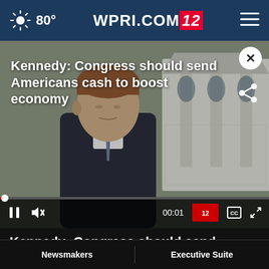80° WPRI.COM 12
[Figure (screenshot): Video screenshot of a man in a dark suit being interviewed outdoors near a white gazebo structure. Video title overlay reads: Kennedy: Congress should send Americans cash to boost economy. Video controls show pause button, mute button, timestamp 00:01, and fullscreen button. A small WPRI channel logo appears bottom right of video.]
Kennedy: Congress should send...
Newsmakers   Executive Suite